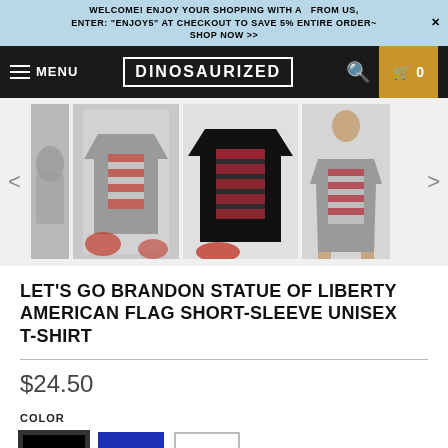WELCOME! ENJOY YOUR SHOPPING WITH A  FROM US, ENTER: "ENJOY5" AT CHECKOUT TO SAVE 5% ENTIRE ORDER~ X SHOP NOW >>
MENU | DINOSAURIZED | 0
[Figure (photo): Product image carousel showing four t-shirt photos with left and right navigation arrows. Shirts show American flag / Statue of Liberty design in gray, black, and back views.]
LET'S GO BRANDON STATUE OF LIBERTY AMERICAN FLAG SHORT-SLEEVE UNISEX T-SHIRT
$24.50
COLOR
[Figure (illustration): Three color swatches: black (selected), royal blue, white]
SIZE
[Figure (illustration): Size selection boxes, first one selected]